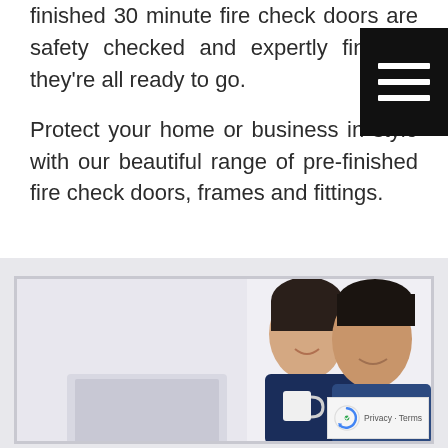finished 30 minute fire check doors are safety checked and expertly finished they're all ready to go.
Protect your home or business in style with our beautiful range of pre-finished fire check doors, frames and fittings.
[Figure (photo): A couple smiling and looking at a laptop/device together; the woman is holding a white mug. Photo is partially visible with a light left portion and faces on the right side.]